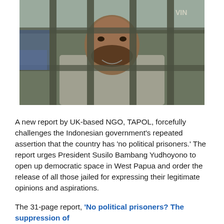[Figure (photo): A man with a beard behind metal bars, looking at the camera, wearing a grey shirt. The photo appears to be taken inside a prison or detention facility.]
A new report by UK-based NGO, TAPOL, forcefully challenges the Indonesian government's repeated assertion that the country has 'no political prisoners.' The report urges President Susilo Bambang Yudhoyono to open up democratic space in West Papua and order the release of all those jailed for expressing their legitimate opinions and aspirations.
The 31-page report, 'No political prisoners? The suppression of political content in West Papua,'